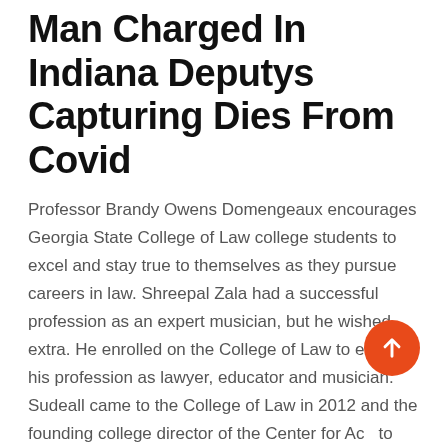Man Charged In Indiana Deputys Capturing Dies From Covid
Professor Brandy Owens Domengeaux encourages Georgia State College of Law college students to excel and stay true to themselves as they pursue careers in law. Shreepal Zala had a successful profession as an expert musician, but he wished extra. He enrolled on the College of Law to expand his profession as lawyer, educator and musician. Sudeall came to the College of Law in 2012 and the founding college director of the Center for Access to Justice, the place she conducts research on access to justice issues and teaches an Access to Justice course.